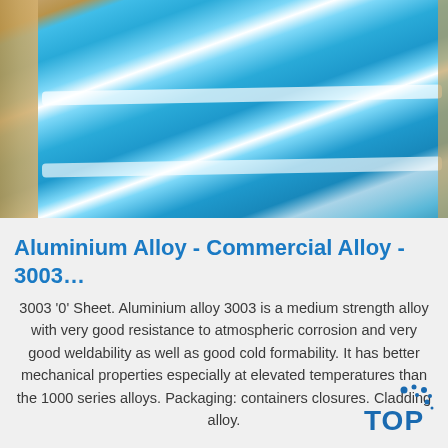[Figure (photo): Photograph of blue aluminium alloy sheets stacked in cardboard/wooden packaging, viewed from an angle showing reflective surface with white highlight streaks]
Aluminium Alloy - Commercial Alloy - 3003…
3003 '0' Sheet. Aluminium alloy 3003 is a medium strength alloy with very good resistance to atmospheric corrosion and very good weldability as well as good cold formability. It has better mechanical properties especially at elevated temperatures than the 1000 series alloys. Packaging: containers closures. Cladding alloy.